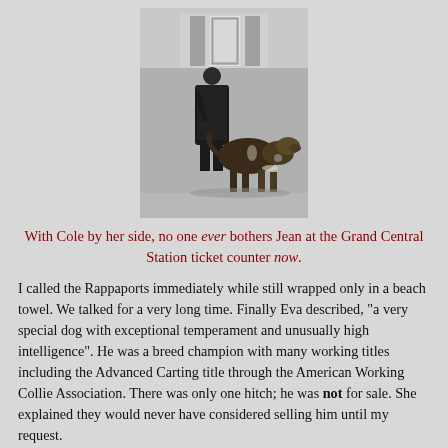[Figure (photo): Black and white photograph of a woman standing at what appears to be Grand Central Station ticket counter with a large collie dog beside her.]
With Cole by her side, no one ever bothers Jean at the Grand Central Station ticket counter now.
I called the Rappaports immediately while still wrapped only in a beach towel. We talked for a very long time. Finally Eva described, "a very special dog with exceptional temperament and unusually high intelligence". He was a breed champion with many working titles including the Advanced Carting title through the American Working Collie Association. There was only one hitch; he was not for sale. She explained they would never have considered selling him until my request.
"We would do it for him," she said, "so he could continue to learn and be useful and have a wonderful life enjoying a position of great importance out in the world." She continued, "He sleeps in..."